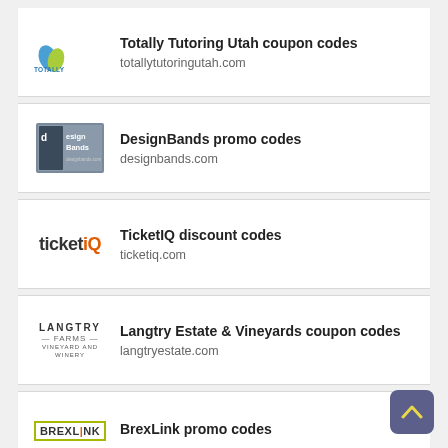Totally Tutoring Utah coupon codes — totallytutoringutah.com
DesignBands promo codes — designbands.com
TicketIQ discount codes — ticketiq.com
Langtry Estate & Vineyards coupon codes — langtryestate.com
BrexLink promo codes